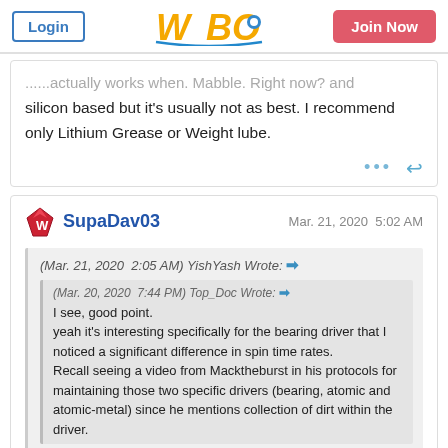Login | WBO | Join Now
...usually works when. Mabble oil. Right now? and silicon based but it's usually not as best. I recommend only Lithium Grease or Weight lube.
SupaDav03  Mar. 21, 2020  5:02 AM
(Mar. 21, 2020  2:05 AM) YishYash Wrote: →
(Mar. 20, 2020  7:44 PM) Top_Doc Wrote: →
I see, good point.
yeah it's interesting specifically for the bearing driver that I noticed a significant difference in spin time rates.
Recall seeing a video from Macktheburst in his protocols for maintaining those two specific drivers (bearing, atomic and atomic-metal) since he mentions collection of dirt within the driver.